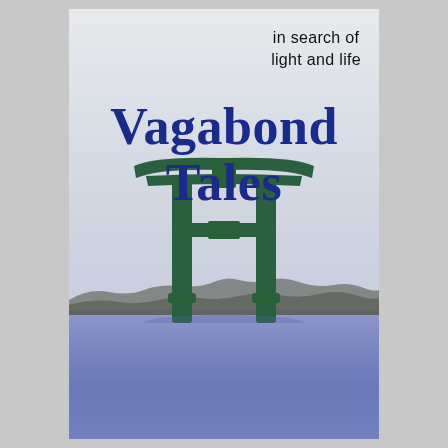in search of
light and life
VAGABOND TALES
[Figure (photo): A green Japanese torii gate standing in calm purple-blue water with misty mountains in the background and a pale grey-white sky.]